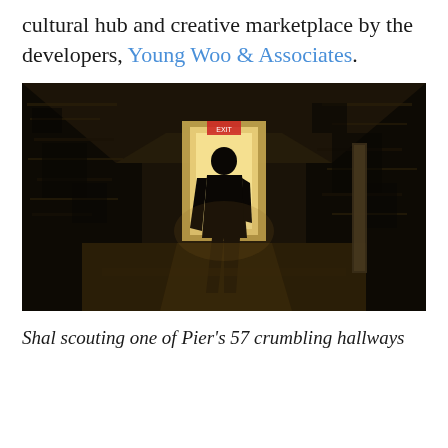cultural hub and creative marketplace by the developers, Young Woo & Associates.
[Figure (photo): A silhouetted person walks down a crumbling, decayed hallway toward a bright doorway with an EXIT sign above it. The walls are heavily deteriorated with peeling paint and dark stains. The image is in sepia/dark tones.]
Shal scouting one of Pier's 57 crumbling hallways
...